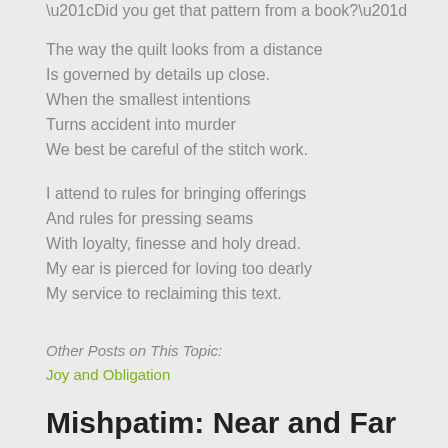“Did you get that pattern from a book?”
The way the quilt looks from a distance
Is governed by details up close.
When the smallest intentions
Turns accident into murder
We best be careful of the stitch work.
I attend to rules for bringing offerings
And rules for pressing seams
With loyalty, finesse and holy dread.
My ear is pierced for loving too dearly
My service to reclaiming this text.
Other Posts on This Topic:
Joy and Obligation
Mishpatim: Near and Far